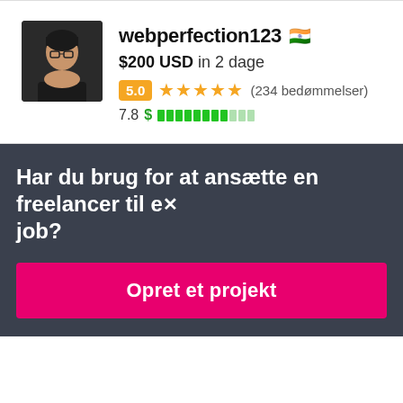[Figure (screenshot): Freelancer profile card showing username webperfection123 with Indian flag, $200 USD in 2 dage, 5.0 rating badge, 5 orange stars, (234 bedømmelser), score 7.8 with dollar sign and green bar indicators]
Har du brug for at ansætte en freelancer til et job?
Opret et projekt